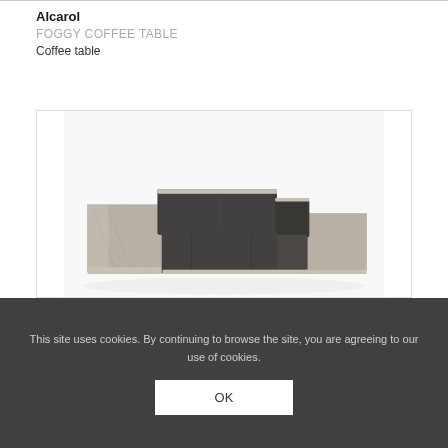Alcarol
FOGGY COFFEE TABLE
Coffee table
[Figure (photo): A large dark leather sectional sofa with metal/concrete panel sides, viewed from above at an angle, on a white background.]
This site uses cookies. By continuing to browse the site, you are agreeing to our use of cookies.
OK